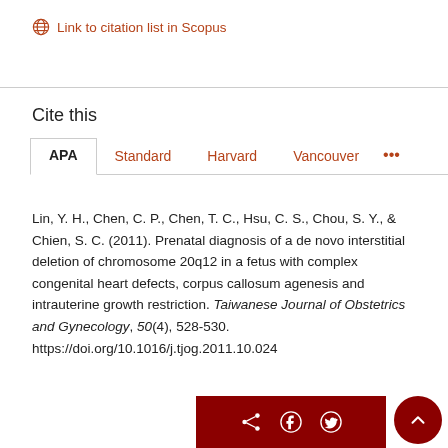Link to citation list in Scopus
Cite this
APA | Standard | Harvard | Vancouver | ...
Lin, Y. H., Chen, C. P., Chen, T. C., Hsu, C. S., Chou, S. Y., & Chien, S. C. (2011). Prenatal diagnosis of a de novo interstitial deletion of chromosome 20q12 in a fetus with complex congenital heart defects, corpus callosum agenesis and intrauterine growth restriction. Taiwanese Journal of Obstetrics and Gynecology, 50(4), 528-530. https://doi.org/10.1016/j.tjog.2011.10.024